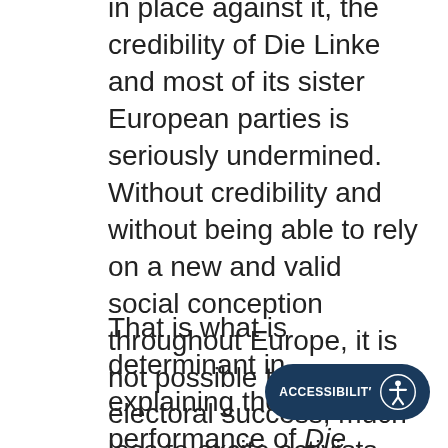in place against it, the credibility of Die Linke and most of its sister European parties is seriously undermined. Without credibility and without being able to rely on a new and valid social conception throughout Europe, it is not possible to obtain electoral success, much less to excite activists. This is simply the record of the 2019 European election.
That is what is determinant in explaining the poor performance of Die Linke in Germany. We should add also some personal quarrels, the conflicts between the parliamentary group and the party and the presence among some